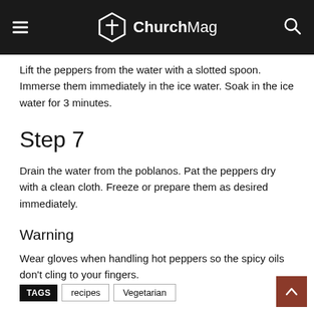ChurchMag
Lift the peppers from the water with a slotted spoon. Immerse them immediately in the ice water. Soak in the ice water for 3 minutes.
Step 7
Drain the water from the poblanos. Pat the peppers dry with a clean cloth. Freeze or prepare them as desired immediately.
Warning
Wear gloves when handling hot peppers so the spicy oils don't cling to your fingers.
TAGS  recipes  Vegetarian